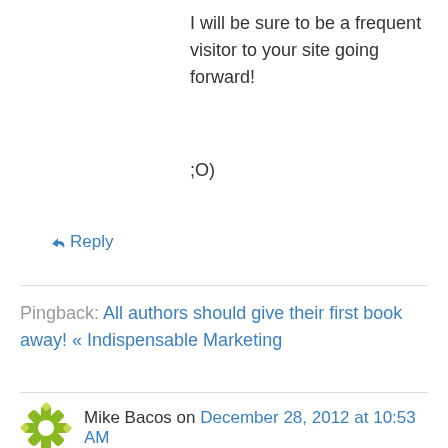I will be sure to be a frequent visitor to your site going forward!
;O)
↳ Reply
Pingback: All authors should give their first book away! « Indispensable Marketing
Mike Bacos on December 28, 2012 at 10:53 AM
Reblogged this on The Social Media Rook and commented:
Very valuable tips for us Social Media Rooks out there. It reminds me of why I'm here in the first place…check it out.